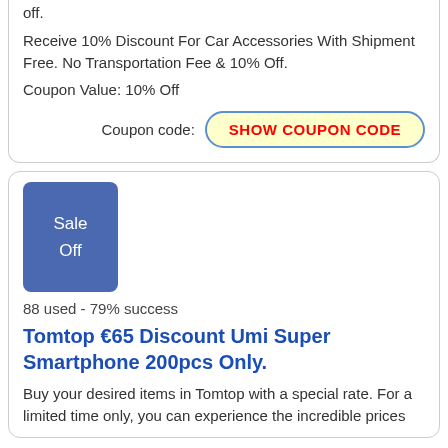off.
Receive 10% Discount For Car Accessories With Shipment Free. No Transportation Fee & 10% Off.
Coupon Value: 10% Off
Coupon code: SHOW COUPON CODE
[Figure (other): Blue rounded rectangle badge with white text reading 'Sale Off']
88 used - 79% success
Tomtop €65 Discount Umi Super Smartphone 200pcs Only.
Buy your desired items in Tomtop with a special rate. For a limited time only, you can experience the incredible prices